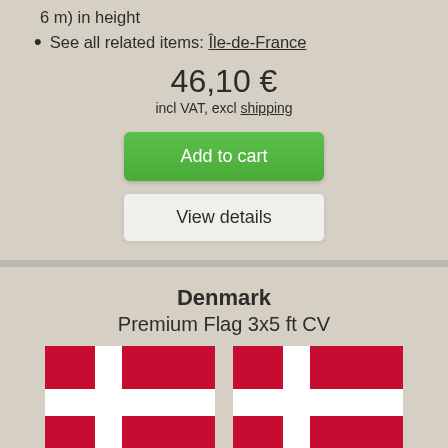6 m) in height
See all related items: Île-de-France
46,10 €
incl VAT, excl shipping
Add to cart
View details
Denmark
Premium Flag 3x5 ft CV
[Figure (photo): Two Denmark flags shown side by side — red with white cross]